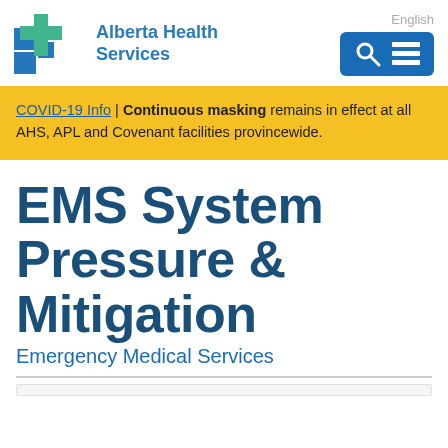[Figure (logo): Alberta Health Services logo with blue cross/squares icon and teal-green accent, followed by 'Alberta Health Services' text in blue]
English
[Figure (other): Blue navigation button with search magnifying glass icon and grid/menu icon]
COVID-19 Info | Continuous masking remains in effect at all AHS, APL and Covenant facilities provincewide.
EMS System Pressure & Mitigation
Emergency Medical Services